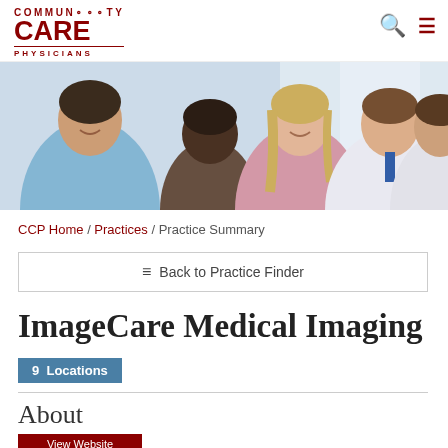COMMUNITY CARE PHYSICIANS
[Figure (photo): Group of medical professionals smiling, including a nurse in blue scrubs, a woman in pink, two male physicians in white coats, consulting with a patient with dark hair viewed from behind.]
CCP Home / Practices / Practice Summary
≡ Back to Practice Finder
ImageCare Medical Imaging
9  Locations
About
View Website